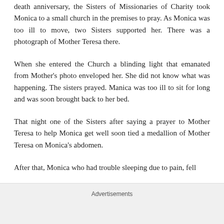death anniversary, the Sisters of Missionaries of Charity took Monica to a small church in the premises to pray. As Monica was too ill to move, two Sisters supported her. There was a photograph of Mother Teresa there.
When she entered the Church a blinding light that emanated from Mother's photo enveloped her. She did not know what was happening. The sisters prayed. Manica was too ill to sit for long and was soon brought back to her bed.
That night one of the Sisters after saying a prayer to Mother Teresa to help Monica get well soon tied a medallion of Mother Teresa on Monica's abdomen.
After that, Monica who had trouble sleeping due to pain, fell
Advertisements